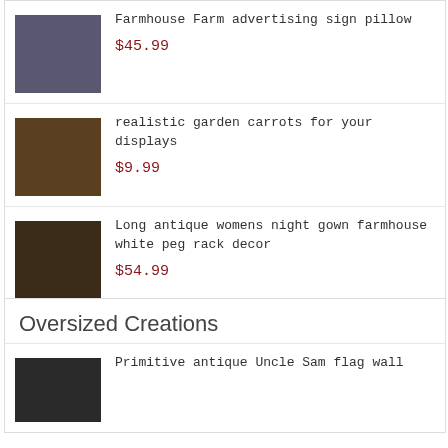[Figure (photo): Product photo of farmhouse farm advertising sign pillow with black and white check pattern]
Farmhouse Farm advertising sign pillow
$45.99
[Figure (photo): Product photo of realistic garden carrots in a basket for displays]
realistic garden carrots for your displays
$9.99
[Figure (photo): Product photo of long antique womens night gown on peg rack]
Long antique womens night gown farmhouse white peg rack decor
$54.99
Oversized Creations
[Figure (photo): Product photo partially visible, cropped at bottom of page]
Primitive antique Uncle Sam flag wall